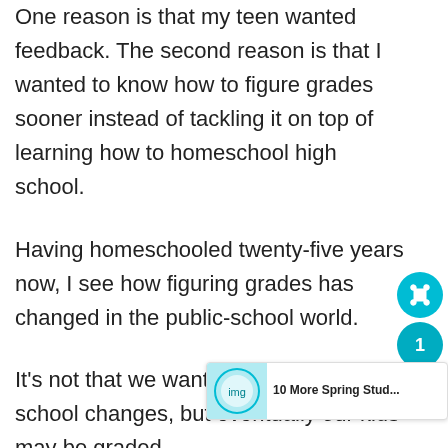One reason is that my teen wanted feedback. The second reason is that I wanted to know how to figure grades sooner instead of tackling it on top of learning how to homeschool high school.
Having homeschooled twenty-five years now, I see how figuring grades has changed in the public-school world.
It's not that we want to keep up public-school changes, but eventually our kids may be graded
[Figure (infographic): Social share widget with teal circular buttons showing share/like icons and the number 1]
[Figure (infographic): Related content banner reading '10 More Spring Stud...' with a circular thumbnail image]